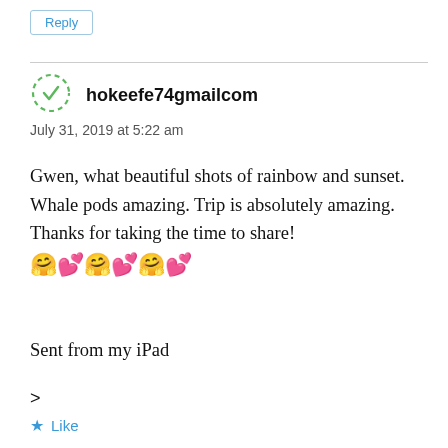Reply
[Figure (illustration): Dashed green circle avatar placeholder icon]
hokeefe74gmailcom
July 31, 2019 at 5:22 am
Gwen, what beautiful shots of rainbow and sunset. Whale pods amazing. Trip is absolutely amazing. Thanks for taking the time to share! 🤗💕🤗💕🤗💕
Sent from my iPad
>
★ Like